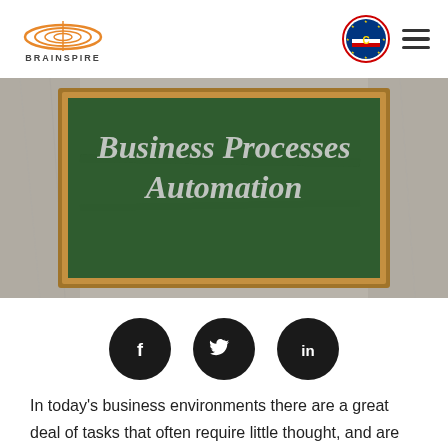BRAINSPIRE
[Figure (photo): Chalkboard with text 'Business Processes Automation' displayed on a green chalkboard with wooden frame against a stone/concrete background]
[Figure (infographic): Three black circular social media icons: Facebook (f), Twitter (bird), LinkedIn (in)]
In today's business environments there are a great deal of tasks that often require little thought, and are completed